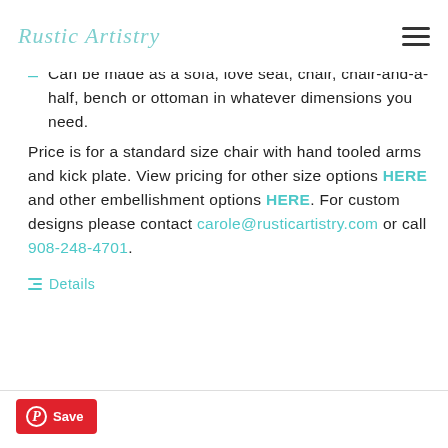Rustic Artistry
Can be made as a sofa, love seat, chair, chair-and-a-half, bench or ottoman in whatever dimensions you need.
Price is for a standard size chair with hand tooled arms and kick plate. View pricing for other size options HERE and other embellishment options HERE. For custom designs please contact carole@rusticartistry.com or call 908-248-4701.
Details
Save